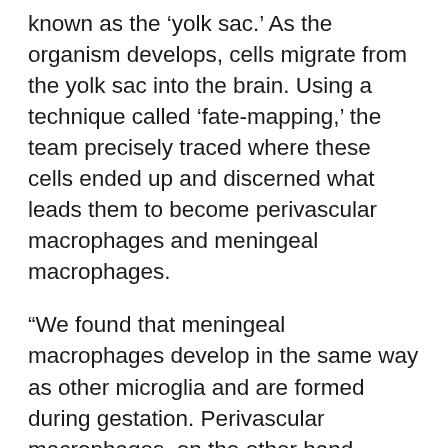known as the 'yolk sac.' As the organism develops, cells migrate from the yolk sac into the brain. Using a technique called 'fate-mapping,' the team precisely traced where these cells ended up and discerned what leads them to become perivascular macrophages and meningeal macrophages.
“We found that meningeal macrophages develop in the same way as other microglia and are formed during gestation. Perivascular macrophages, on the other hand, actually begin to form after birth, and originate from the meningeal macrophages. This was very unexpected,” states Masuda.
Through their research, the team was also